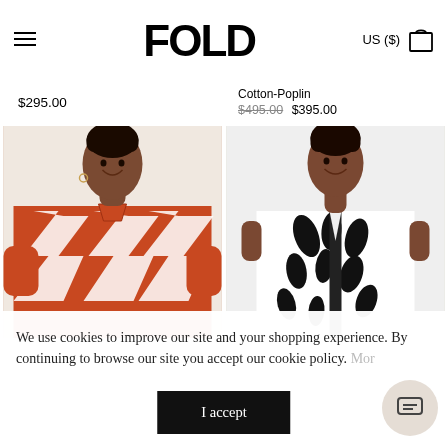FOLD — US ($)
$295.00
Cotton-Poplin
$495.00 $395.00
[Figure (photo): Woman wearing a red and white geometric print long-sleeve shirt, smiling]
[Figure (photo): Woman wearing a black and white leaf/botanical print sleeveless top, smiling]
We use cookies to improve our site and your shopping experience. By continuing to browse our site you accept our cookie policy. More
I accept